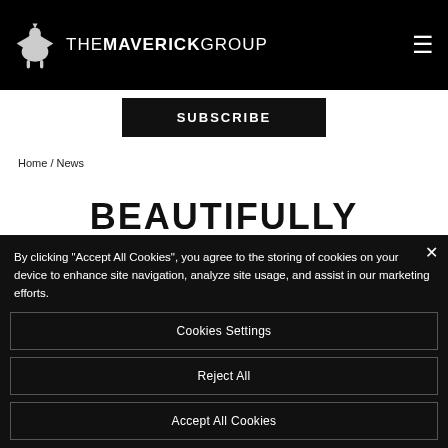THE MAVERICK GROUP
SUBSCRIBE
Home / News
BEAUTIFULLY FUNCTIONAL
By clicking "Accept All Cookies", you agree to the storing of cookies on your device to enhance site navigation, analyze site usage, and assist in our marketing efforts.
Cookies Settings
Reject All
Accept All Cookies